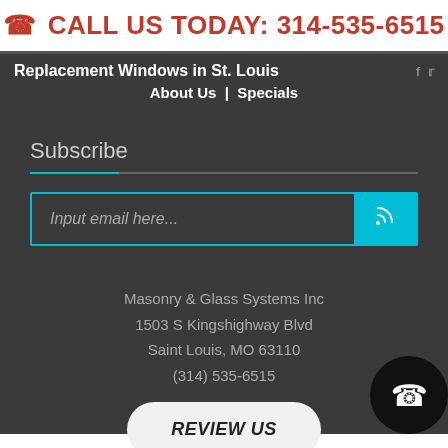CALL US TODAY: 314-535-6515
Replacement Windows in St. Louis
About Us  |  Specials
Subscribe
Input email here...
Masonry & Glass Systems Inc
1503 S Kingshighway Blvd
Saint Louis, MO 63110
(314) 535-6515
REVIEW US